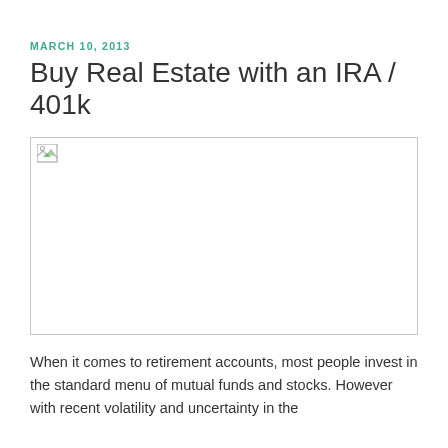MARCH 10, 2013
Buy Real Estate with an IRA / 401k
[Figure (photo): Broken/missing image placeholder — a broken image icon in the top-left of a bordered image box]
When it comes to retirement accounts, most people invest in the standard menu of mutual funds and stocks. However with recent volatility and uncertainty in the